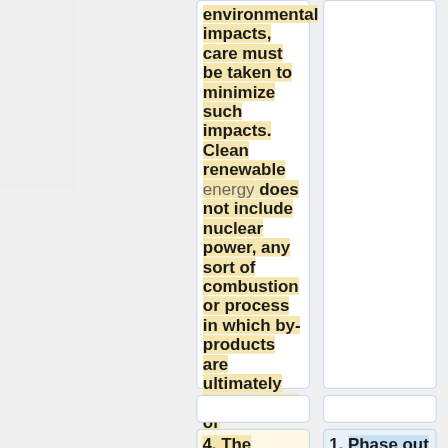environmental impacts, care must be taken to minimize such impacts. Clean renewable energy does not include nuclear power, any sort of combustion or process in which by-products are ultimately combusted, or hydroelectric dams that block entire rivers.
4. The Green Party calls for
1. Phase out all nuclear power